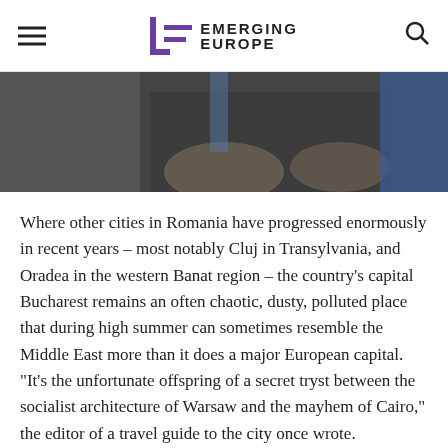EMERGING EUROPE
[Figure (photo): Partial photo of a man in a suit gesturing, cropped at mid-body level, with a blue background]
Where other cities in Romania have progressed enormously in recent years – most notably Cluj in Transylvania, and Oradea in the western Banat region – the country's capital Bucharest remains an often chaotic, dusty, polluted place that during high summer can sometimes resemble the Middle East more than it does a major European capital. “It’s the unfortunate offspring of a secret tryst between the socialist architecture of Warsaw and the mayhem of Cairo,” the editor of a travel guide to the city once wrote.